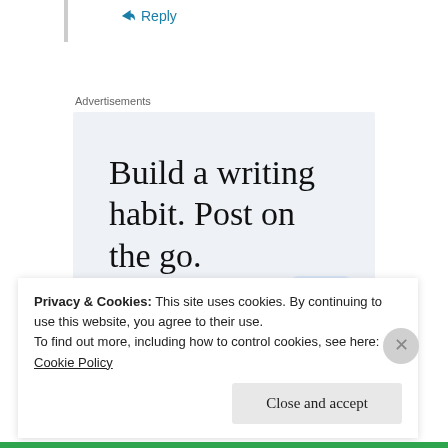↳ Reply
Advertisements
[Figure (infographic): WordPress app advertisement with text 'Build a writing habit. Post on the go.' and 'GET THE APP' call to action with WordPress logo icon on a light blue-grey background.]
Privacy & Cookies: This site uses cookies. By continuing to use this website, you agree to their use. To find out more, including how to control cookies, see here: Cookie Policy
Close and accept